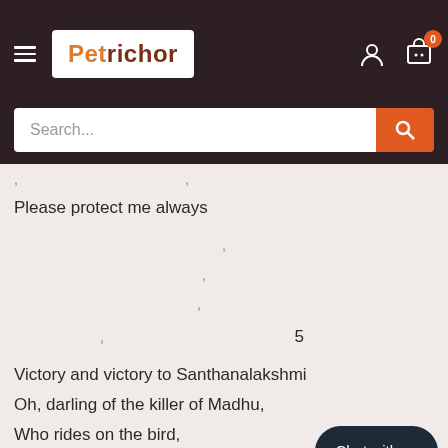[Figure (screenshot): Petrichor website header with dark brown background, hamburger menu, Petrichor logo in white box (orange and dark red text), user account icon, cart icon with orange badge showing 0]
[Figure (screenshot): Search bar with white input field showing 'Search...' placeholder and orange search button with magnifying glass icon]
Please protect me always
, (partial script lines with commas visible, page number 5)
Victory and victory to Santhanalakshmi
Oh, darling of the killer of Madhu,
Who rides on the bird,
Who is an enchantress,
Who is the consort of he who holds the Chakra,